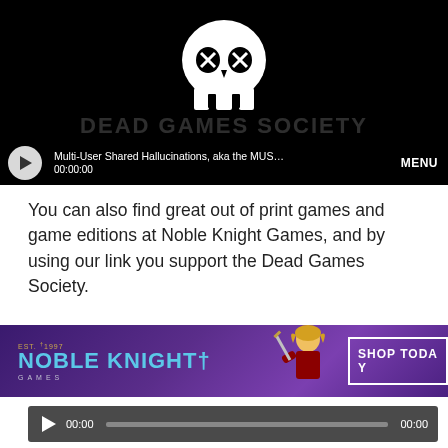[Figure (screenshot): Video player showing Dead Games Society logo (skull on black background) with playback controls. Title shows 'Multi-User Shared Hallucinations, aka the MUSH — DG...' and timestamp '00:00:00'. MENU button visible on right.]
You can also find great out of print games and game editions at Noble Knight Games, and by using our link you support the Dead Games Society.
[Figure (screenshot): Noble Knight Games banner advertisement with purple background, fantasy warrior character, EST. 1997 logo, and SHOP TODAY button.]
[Figure (screenshot): Audio player with play button, timestamp 00:00 on left, progress bar, and 00:00 on right.]